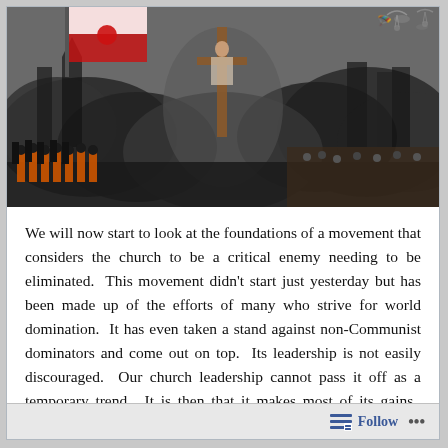[Figure (photo): Composite image showing historical violence and persecution: left side shows people in orange jumpsuits lined up, center shows a crucifix amid large smoke clouds and a building being demolished, upper left has a red and white flag, upper right shows parachutists and a crowd scene.]
We will now start to look at the foundations of a movement that considers the church to be a critical enemy needing to be eliminated.  This movement didn't start just yesterday but has been made up of the efforts of many who strive for world domination.  It has even taken a stand against non-Communist dominators and come out on top.  Its leadership is not easily discouraged.  Our church leadership cannot pass it off as a temporary trend.  It is then that it makes most of its gains.  Communism will